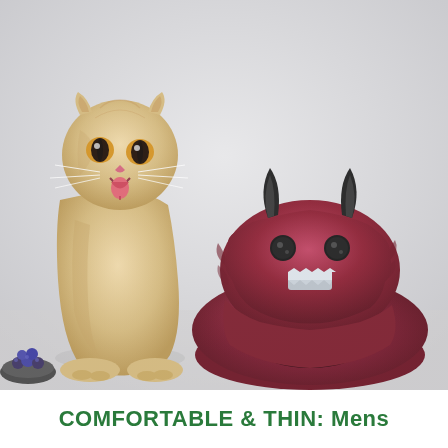[Figure (photo): A Scottish Fold kitten with cream/golden fur sitting upright with mouth open and tongue out, next to a dark red/maroon fluffy round monster-shaped pet bed with black horns, googly eyes, and a jagged tooth smile. A small bowl of blueberries is visible at the bottom left. Light grey background.]
COMFORTABLE & THIN: Mens